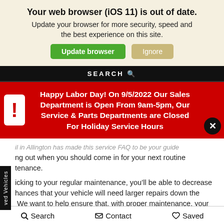Your web browser (iOS 11) is out of date.
Update your browser for more security, speed and the best experience on this site.
Update browser | Ignore
SEARCH
Happy Labor Day! On 9/5/2022 Our Sales Department is Open From 9am-5pm, Our Service & Parts Departments are Closed For Holiday Service Hours
ng out when you should come in for your next routine tenance.
icking to your regular maintenance, you’ll be able to decrease hances that your vehicle will need larger repairs down the We want to help ensure that, with proper maintenance, your car will be able to run well for years to come along the roads of Willow Grove, Willow Manor, and Glenside, Pennsylvania.
Search   Contact   Saved